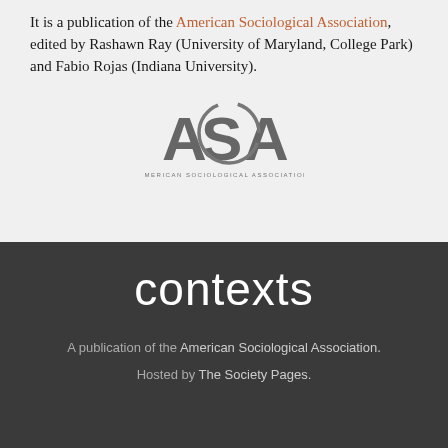It is a publication of the American Sociological Association, edited by Rashawn Ray (University of Maryland, College Park) and Fabio Rojas (Indiana University).
[Figure (logo): American Sociological Association logo with large letters ASA and circular swoosh element, with 'AMERICAN SOCIOLOGICAL ASSOCIATION' text below]
contexts
A publication of the American Sociological Association.
Hosted by The Society Pages.